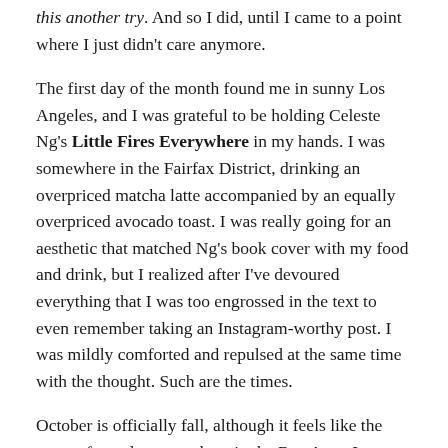this another try. And so I did, until I came to a point where I just didn't care anymore.
The first day of the month found me in sunny Los Angeles, and I was grateful to be holding Celeste Ng's Little Fires Everywhere in my hands. I was somewhere in the Fairfax District, drinking an overpriced matcha latte accompanied by an equally overpriced avocado toast. I was really going for an aesthetic that matched Ng's book cover with my food and drink, but I realized after I've devoured everything that I was too engrossed in the text to even remember taking an Instagram-worthy post. I was mildly comforted and repulsed at the same time with the thought. Such are the times.
October is officially fall, although it feels like the onset of a real summer here in the Bay Area. I was going to say that now would be a good time to cozy up with a book, but